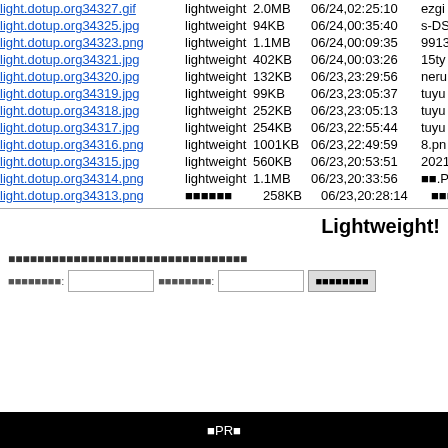| filename | type | size | date | user |
| --- | --- | --- | --- | --- |
| light.dotup.org34327.gif | lightweight | 2.0MB | 06/24,02:25:10 | ezgi |
| light.dotup.org34325.jpg | lightweight | 94KB | 06/24,00:35:40 | s-DS |
| light.dotup.org34323.png | lightweight | 1.1MB | 06/24,00:09:35 | 9913 |
| light.dotup.org34321.jpg | lightweight | 402KB | 06/24,00:03:26 | 15ty |
| light.dotup.org34320.jpg | lightweight | 132KB | 06/23,23:29:56 | neru |
| light.dotup.org34319.jpg | lightweight | 99KB | 06/23,23:05:37 | tuyu |
| light.dotup.org34318.jpg | lightweight | 252KB | 06/23,23:05:13 | tuyu |
| light.dotup.org34317.jpg | lightweight | 254KB | 06/23,22:55:44 | tuyu |
| light.dotup.org34316.png | lightweight | 1001KB | 06/23,22:49:59 | 8.pn |
| light.dotup.org34315.jpg | lightweight | 560KB | 06/23,20:53:51 | 2021 |
| light.dotup.org34314.png | lightweight | 1.1MB | 06/23,20:33:56 |   .PN |
| light.dotup.org34313.png | ■■■■■■ | 258KB | 06/23,20:28:14 | ■■■■■■ |
Lightweight!
■■■■■■■■■■■■■■■■■■■■■■■■■■■■■■■■■
■■■■■■■■: [input] ■■■■■■■■: [input] [■■■■■■■■]
■PR■